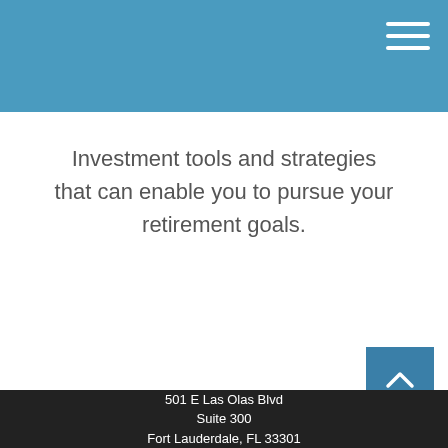Investment tools and strategies that can enable you to pursue your retirement goals.
501 E Las Olas Blvd
Suite 300
Fort Lauderdale, FL 33301